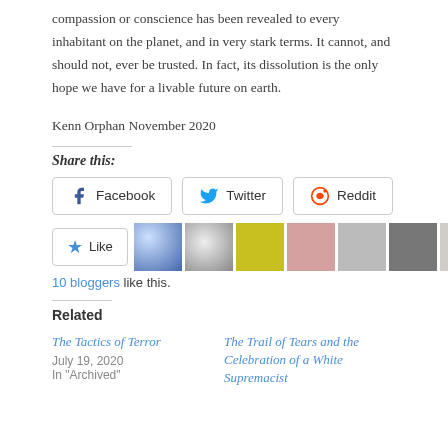compassion or conscience has been revealed to every inhabitant on the planet, and in very stark terms. It cannot, and should not, ever be trusted. In fact, its dissolution is the only hope we have for a livable future on earth.
Kenn Orphan November 2020
Share this:
Facebook  Twitter  Reddit
Like  10 bloggers like this.
Related
The Tactics of Terror
July 19, 2020
In "Archived"
The Trail of Tears and the Celebration of a White Supremacist